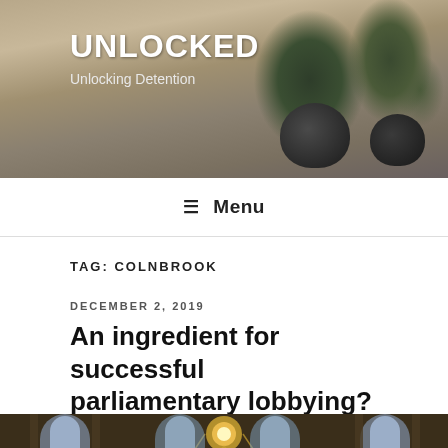[Figure (photo): Header banner photo showing dark spherical plant pots on a wooden surface with green plants, with text overlay showing site title and tagline]
UNLOCKED
Unlocking Detention
☰ Menu
TAG: COLNBROOK
DECEMBER 2, 2019
An ingredient for successful parliamentary lobbying? A lack of ego
[Figure (photo): Interior of a grand gothic cathedral or parliament building with arched windows and chandeliers]